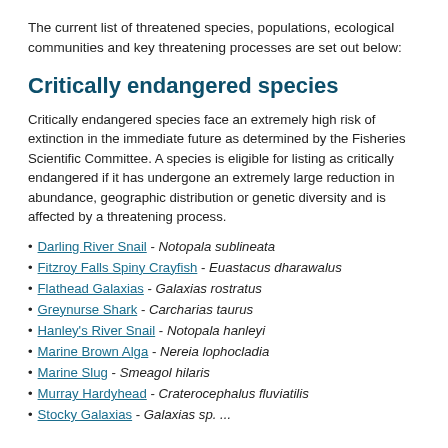The current list of threatened species, populations, ecological communities and key threatening processes are set out below:
Critically endangered species
Critically endangered species face an extremely high risk of extinction in the immediate future as determined by the Fisheries Scientific Committee. A species is eligible for listing as critically endangered if it has undergone an extremely large reduction in abundance, geographic distribution or genetic diversity and is affected by a threatening process.
Darling River Snail - Notopala sublineata
Fitzroy Falls Spiny Crayfish - Euastacus dharawalus
Flathead Galaxias - Galaxias rostratus
Greynurse Shark - Carcharias taurus
Hanley's River Snail - Notopala hanleyi
Marine Brown Alga - Nereia lophocladia
Marine Slug - Smeagol hilaris
Murray Hardyhead - Craterocephalus fluviatilis
Stocky Galaxias - Galaxias sp. ...